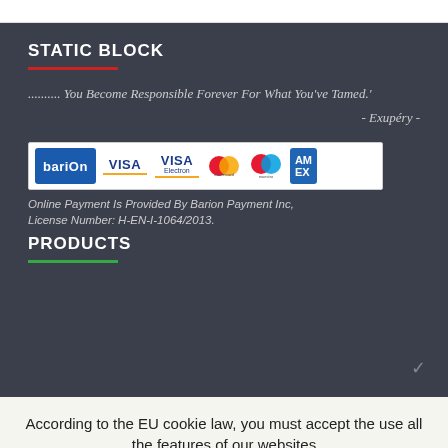STATIC BLOCK
.......... You Become Responsible Forever For What You've Tamed.'
- Exupéry -
[Figure (logo): Barion payment logos: Barion, VISA, VISA Electron, Mastercard, Maestro, American Express]
Online Payment Is Provided By Barion Payment Inc,
License Number: H-EN-I-1064/2013.
PRODUCTS
According to the EU cookie law, you must accept the use all the features of our websites
I Accept
More Information